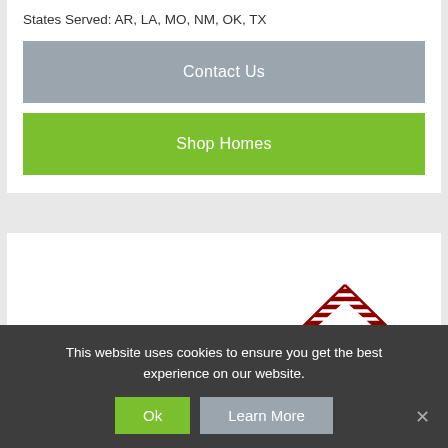States Served: AR, LA, MO, NM, OK, TX
Contact Us
Shop Homes
[Figure (logo): KABCO logo with red stylized house/roof graphic]
This website uses cookies to ensure you get the best experience on our website.
Ok
Learn More